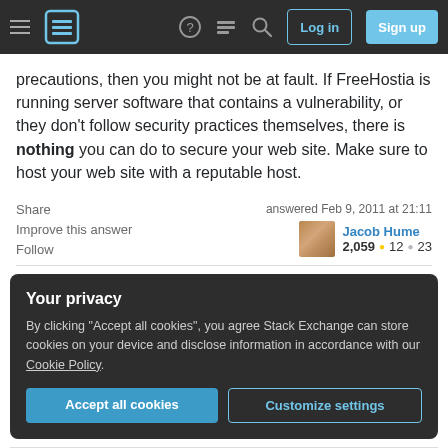Stack Exchange navigation bar with Log in and Sign up buttons
precautions, then you might not be at fault. If FreeHostia is running server software that contains a vulnerability, or they don't follow security practices themselves, there is nothing you can do to secure your web site. Make sure to host your web site with a reputable host.
Share | Improve this answer | Follow
answered Feb 9, 2011 at 21:11
Jacob Hume
2,059 • 12 • 23
Your privacy
By clicking "Accept all cookies", you agree Stack Exchange can store cookies on your device and disclose information in accordance with our Cookie Policy.
Accept all cookies | Customize settings
You're doing WordPress site but on expertise in your...